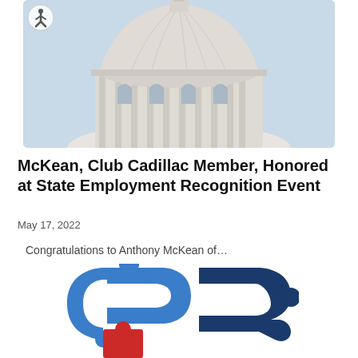[Figure (photo): Photo of a state capitol building dome against a light blue sky]
McKean, Club Cadillac Member, Honored at State Employment Recognition Event
May 17, 2022
Congratulations to Anthony McKean of…
[Figure (logo): Puzzle-piece logo in blue and red colors, resembling an autism awareness or employment services logo]